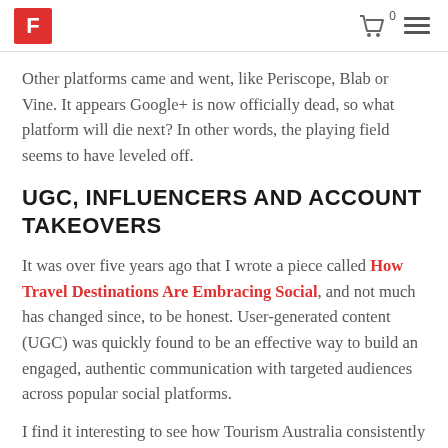F [logo] | cart 0 | menu
Other platforms came and went, like Periscope, Blab or Vine. It appears Google+ is now officially dead, so what platform will die next? In other words, the playing field seems to have leveled off.
UGC, INFLUENCERS AND ACCOUNT TAKEOVERS
It was over five years ago that I wrote a piece called How Travel Destinations Are Embracing Social, and not much has changed since, to be honest. User-generated content (UGC) was quickly found to be an effective way to build an engaged, authentic communication with targeted audiences across popular social platforms.
I find it interesting to see how Tourism Australia consistently delivers with This Week's Favorite Fan